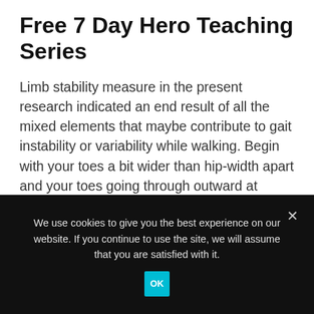Free 7 Day Hero Teaching Series
Limb stability measure in the present research indicated an end result of all the mixed elements that maybe contribute to gait instability or variability while walking. Begin with your toes a bit wider than hip-width apart and your toes going through outward at about forty five levels. Drop your hips into a squat position so your knees go slightly over your toes. As you progress up and down, don't push your butt too far again, which
We use cookies to give you the best experience on our website. If you continue to use the site, we will assume that you are satisfied with it.